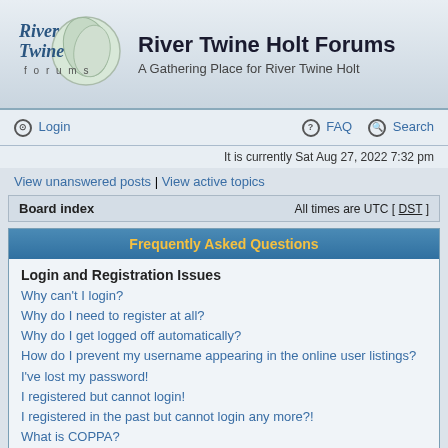[Figure (logo): River Twine Forums logo with stylized text and leaf graphic in a circle]
River Twine Holt Forums
A Gathering Place for River Twine Holt
Login | FAQ | Search
It is currently Sat Aug 27, 2022 7:32 pm
View unanswered posts | View active topics
Board index   All times are UTC [ DST ]
Frequently Asked Questions
Login and Registration Issues
Why can't I login?
Why do I need to register at all?
Why do I get logged off automatically?
How do I prevent my username appearing in the online user listings?
I've lost my password!
I registered but cannot login!
I registered in the past but cannot login any more?!
What is COPPA?
Why can't I register?
What does the "Delete all board cookies" do?
User Preferences and settings
How do I change my settings?